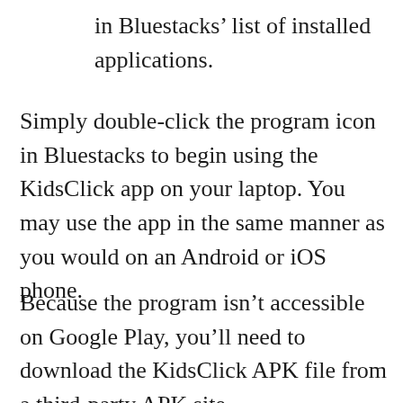in Bluestacks' list of installed applications.
Simply double-click the program icon in Bluestacks to begin using the KidsClick app on your laptop. You may use the app in the same manner as you would on an Android or iOS phone.
Because the program isn't accessible on Google Play, you'll need to download the KidsClick APK file from a third-party APK site,